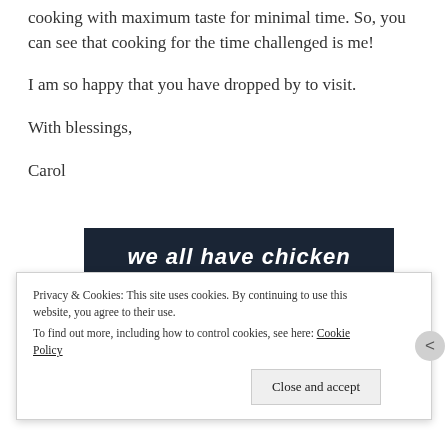cooking with maximum taste for minimal time. So, you can see that cooking for the time challenged is me!
I am so happy that you have dropped by to visit.
With blessings,
Carol
[Figure (screenshot): Dark navy banner with white italic bold text partially visible at top reading something like 'we all have chicken', a pink/magenta 'Start a survey' button on the left, and a circular Crowdsignal badge on the right]
Privacy & Cookies: This site uses cookies. By continuing to use this website, you agree to their use.
To find out more, including how to control cookies, see here: Cookie Policy
Close and accept